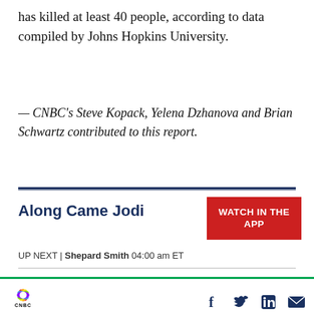has killed at least 40 people, according to data compiled by Johns Hopkins University.
— CNBC's Steve Kopack, Yelena Dzhanova and Brian Schwartz contributed to this report.
Along Came Jodi
[Figure (other): WATCH IN THE APP button (red background)]
UP NEXT | Shepard Smith 04:00 am ET
TRENDING NOW
[Figure (photo): Nvidia logo on dark background]
Nvidia stock falls after U.S. government restricts chip sales to China
CNBC logo with social media icons: Facebook, Twitter, LinkedIn, Email